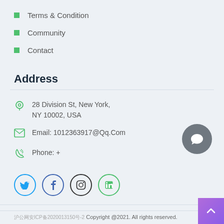Terms & Condition
Community
Contact
Address
28 Division St, New York, NY 10002, USA
Email: 1012363917@Qq.Com
Phone: +
[Figure (illustration): Social media icons: Twitter, Facebook, Instagram, LinkedIn in circular outlines]
沪公网安ICP备2020013150号-2 Copyright @2021. All rights reserved.